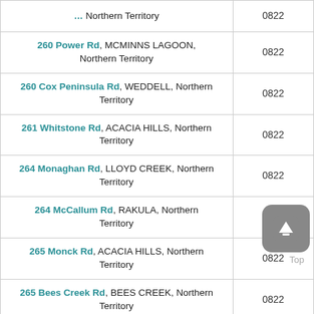| Address | Postcode |
| --- | --- |
| 260 Power Rd, MCMINNS LAGOON, Northern Territory | 0822 |
| 260 Cox Peninsula Rd, WEDDELL, Northern Territory | 0822 |
| 261 Whitstone Rd, ACACIA HILLS, Northern Territory | 0822 |
| 264 Monaghan Rd, LLOYD CREEK, Northern Territory | 0822 |
| 264 McCallum Rd, RAKULA, Northern Territory | 0822 |
| 265 Monck Rd, ACACIA HILLS, Northern Territory | 0822 |
| 265 Bees Creek Rd, BEES CREEK, Northern Territory | 0822 |